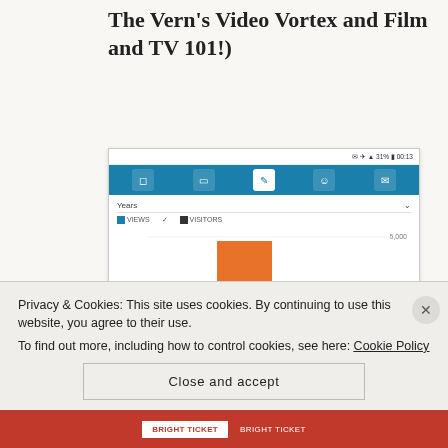The Vern's Video Vortex and Film and TV 101!)
[Figure (screenshot): Mobile app screenshot showing WordPress stats dashboard with a bar chart for Years view. Chart shows Views and Visitors data for 2015, 2016, 2017. A large orange bar for 2016 dominates the chart with a smaller dark red bar inside it. Below shows VIEWS: 4,839 and VISITORS: 1,609.]
Privacy & Cookies: This site uses cookies. By continuing to use this website, you agree to their use.
To find out more, including how to control cookies, see here: Cookie Policy
Close and accept